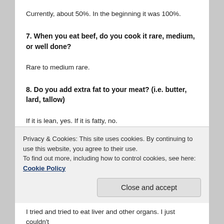Currently, about 50%. In the beginning it was 100%.
7. When you eat beef, do you cook it rare, medium, or well done?
Rare to medium rare.
8. Do you add extra fat to your meat? (i.e. butter, lard, tallow)
If it is lean, yes. If it is fatty, no.
9. Do you limit your meat consumption or do you eat until satisfied?
Privacy & Cookies: This site uses cookies. By continuing to use this website, you agree to their use.
To find out more, including how to control cookies, see here: Cookie Policy
I tried and tried to eat liver and other organs. I just couldn't